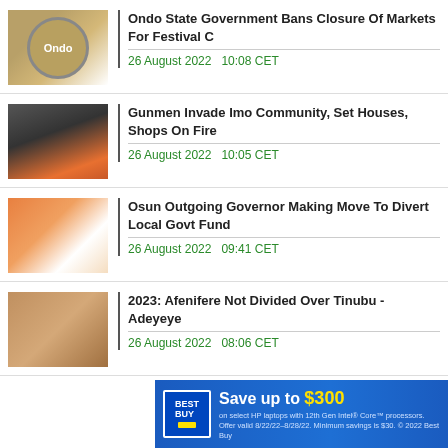Ondo State Government Bans Closure Of Markets For Festival C — 26 August 2022  10:08 CET
Gunmen Invade Imo Community, Set Houses, Shops On Fire — 26 August 2022  10:05 CET
Osun Outgoing Governor Making Move To Divert Local Govt Fund — 26 August 2022  09:41 CET
2023: Afenifere Not Divided Over Tinubu - Adeyeye — 26 August 2022  08:06 CET
[Figure (infographic): Best Buy advertisement banner: Save up to $300 on select HP laptops with 12th Gen Intel Core processors. Offer valid 8/22/22-8/28/22. Minimum savings is $30. © 2022 Best Buy]